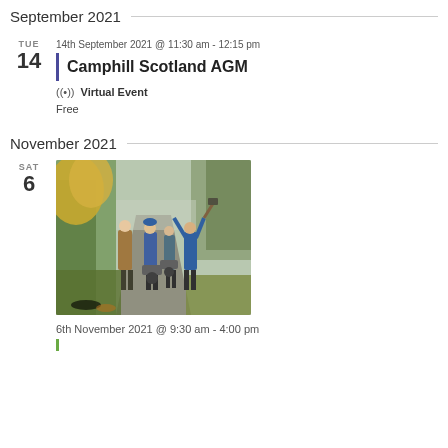September 2021
14th September 2021 @ 11:30 am - 12:15 pm
Camphill Scotland AGM
Virtual Event
Free
November 2021
[Figure (photo): Group of people on a woodland path with wheelbarrows and tools, posing cheerfully in autumn woodland setting]
6th November 2021 @ 9:30 am - 4:00 pm